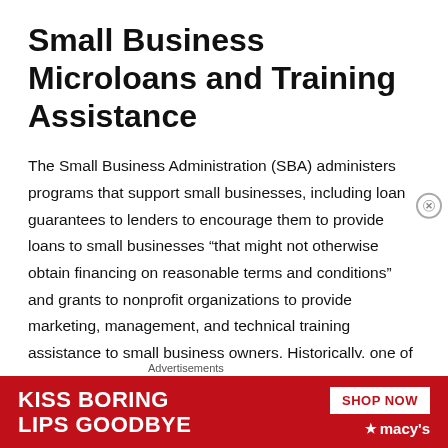Small Business Microloans and Training Assistance
The Small Business Administration (SBA) administers programs that support small businesses, including loan guarantees to lenders to encourage them to provide loans to small businesses “that might not otherwise obtain financing on reasonable terms and conditions” and grants to nonprofit organizations to provide marketing, management, and technical training assistance to small business owners. Historically, one of the justifications presented for funding the SBA’s loan guarantee programs has been that small businesses can be at a disadvantage, compared with
Advertisements
[Figure (photo): Advertisement banner for Macy's lip products with text 'KISS BORING LIPS GOODBYE' and 'SHOP NOW' button with Macy's star logo on red background with woman's face]